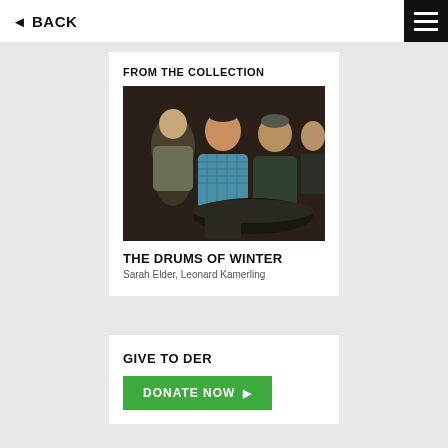◄ BACK
FROM THE COLLECTION
[Figure (photo): A group of men sitting together in a dark indoor setting. A man in a blue plaid shirt is prominent in the center, with others seated around him.]
THE DRUMS OF WINTER
Sarah Elder, Leonard Kamerling
GIVE TO DER
DONATE NOW ▶